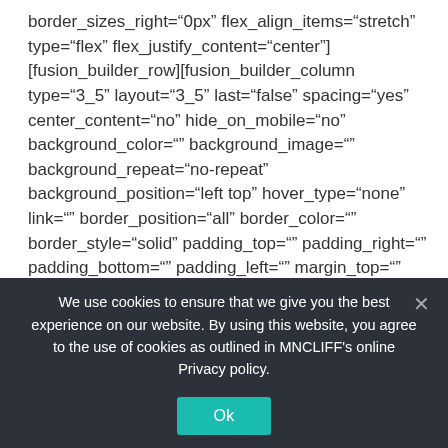border_sizes_right="0px" flex_align_items="stretch" type="flex" flex_justify_content="center"] [fusion_builder_row][fusion_builder_column type="3_5" layout="3_5" last="false" spacing="yes" center_content="no" hide_on_mobile="no" background_color="" background_image="" background_repeat="no-repeat" background_position="left top" hover_type="none" link="" border_position="all" border_color="" border_style="solid" padding_top="" padding_right="" padding_bottom="" padding_left="" margin_top="" margin_bottom="" animation_type="0" animation_direction="down" animation_speed="0.1" animation_offset="" class=""
We use cookies to ensure that we give you the best experience on our website. By using this website, you agree to the use of cookies as outlined in MNCLIFF's online Privacy policy.
Ok